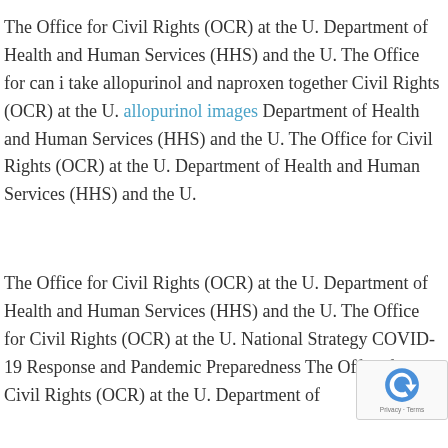The Office for Civil Rights (OCR) at the U. Department of Health and Human Services (HHS) and the U. The Office for can i take allopurinol and naproxen together Civil Rights (OCR) at the U. allopurinol images Department of Health and Human Services (HHS) and the U. The Office for Civil Rights (OCR) at the U. Department of Health and Human Services (HHS) and the U.
The Office for Civil Rights (OCR) at the U. Department of Health and Human Services (HHS) and the U. The Office for Civil Rights (OCR) at the U. National Strategy COVID-19 Response and Pandemic Preparedness The Office for Civil Rights (OCR) at the U. Department of